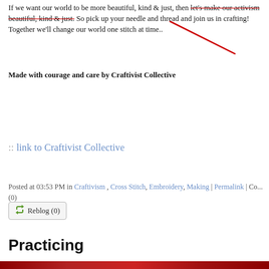If we want our world to be more beautiful, kind & just, then let's make our activism beautiful, kind & just. So pick up your needle and thread and join us in crafting! Together we'll change our world one stitch at time..
Made with courage and care by Craftivist Collective
:: link to Craftivist Collective
Posted at 03:53 PM in Craftivism , Cross Stitch, Embroidery, Making | Permalink | Co... (0)
Reblog (0)
Practicing
[Figure (photo): Dark red/crimson horizontal banner image, possibly fabric or textile material]